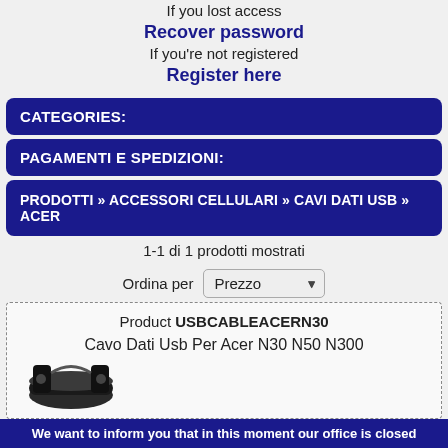If you lost access
Recover password
If you're not registered
Register here
CATEGORIES:
PAGAMENTI E SPEDIZIONI:
PRODOTTI » ACCESSORI CELLULARI » CAVI DATI USB » ACER
1-1 di 1 prodotti mostrati
Ordina per Prezzo
Product USBCABLEACERN30
Cavo Dati Usb Per Acer N30 N50 N300
We want to inform you that in this moment our office is closed